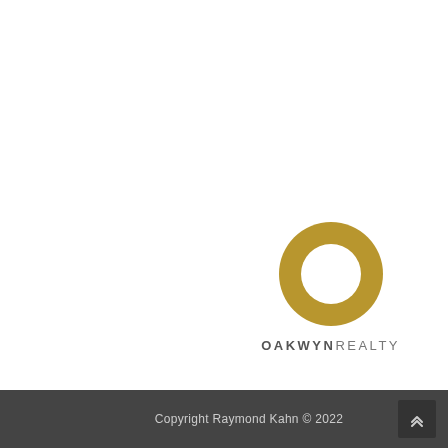[Figure (logo): Oakwyn Realty logo: a gold donut/ring shape above the text OAKWYN REALTY in spaced uppercase letters]
Copyright Raymond Kahn © 2022